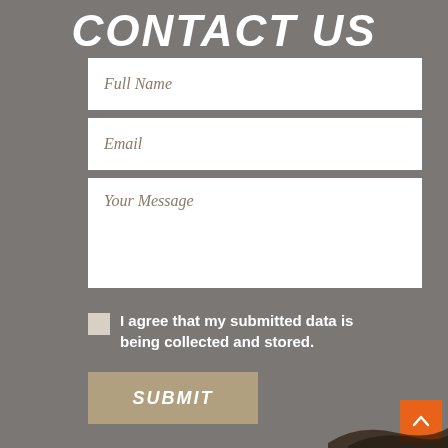CONTACT US
Full Name
Email
Your Message
I agree that my submitted data is being collected and stored.
SUBMIT